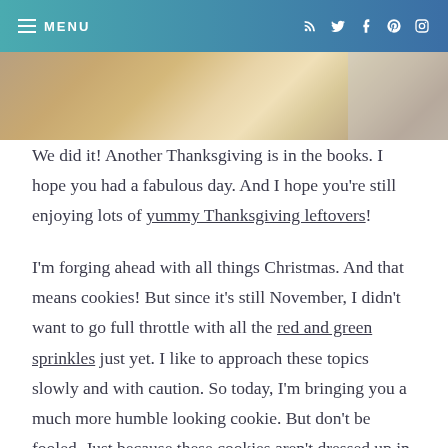MENU  [social icons: RSS, Twitter, Facebook, Pinterest, Instagram]
[Figure (photo): Food photo strip showing baked goods or casserole dish with garnishes, partially overlaid with a light grey/white rectangle on the right side]
We did it! Another Thanksgiving is in the books. I hope you had a fabulous day. And I hope you’re still enjoying lots of yummy Thanksgiving leftovers!
I’m forging ahead with all things Christmas. And that means cookies! But since it’s still November, I didn’t want to go full throttle with all the red and green sprinkles just yet. I like to approach these topics slowly and with caution. So today, I’m bringing you a much more humble looking cookie. But don’t be fooled. Just because these cookies aren’t dressed up in all the glitz and glamour of the season, doesn’t mean they’re off limit to Santa